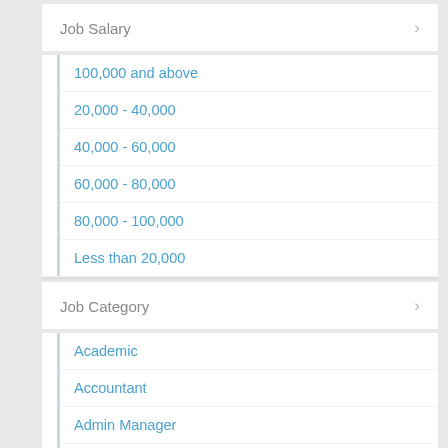Job Salary
100,000 and above
20,000 - 40,000
40,000 - 60,000
60,000 - 80,000
80,000 - 100,000
Less than 20,000
Job Category
Academic
Accountant
Admin Manager
Administrator
Advisor
Agent
airport cleaner